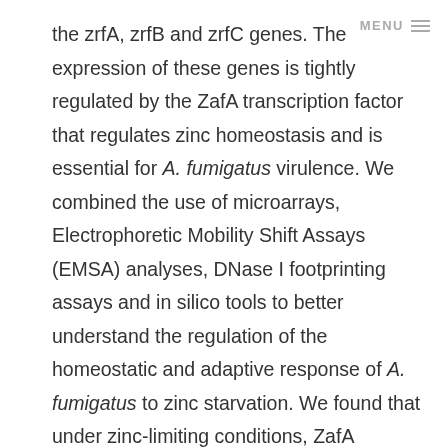MENU ≡
the zrfA, zrfB and zrfC genes. The expression of these genes is tightly regulated by the ZafA transcription factor that regulates zinc homeostasis and is essential for A. fumigatus virulence. We combined the use of microarrays, Electrophoretic Mobility Shift Assays (EMSA) analyses, DNase I footprinting assays and in silico tools to better understand the regulation of the homeostatic and adaptive response of A. fumigatus to zinc starvation. We found that under zinc-limiting conditions, ZafA functions mainly as a transcriptional activator through binding to a zinc response sequence located in the regulatory regions of its target genes, although it could also function as a repressor of a